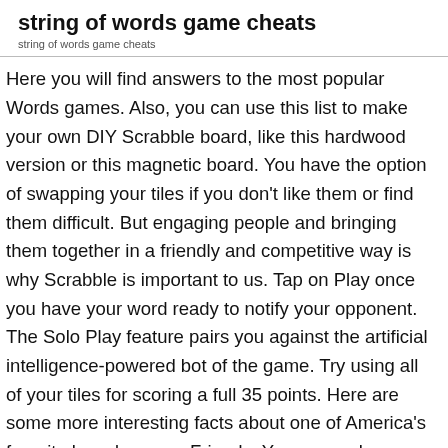string of words game cheats
string of words game cheats
Here you will find answers to the most popular Words games. Also, you can use this list to make your own DIY Scrabble board, like this hardwood version or this magnetic board. You have the option of swapping your tiles if you don't like them or find them difficult. But engaging people and bringing them together in a friendly and competitive way is why Scrabble is important to us. Tap on Play once you have your word ready to notify your opponent. The Solo Play feature pairs you against the artificial intelligence-powered bot of the game. Try using all of your tiles for scoring a full 35 points. Here are some more interesting facts about one of America's favorite board games. Friends. You can make a lesser word in some other part of the board unless you are sure of scoring big. How, why, when, and where did Scrabble originate? And if you are lucky enough, the